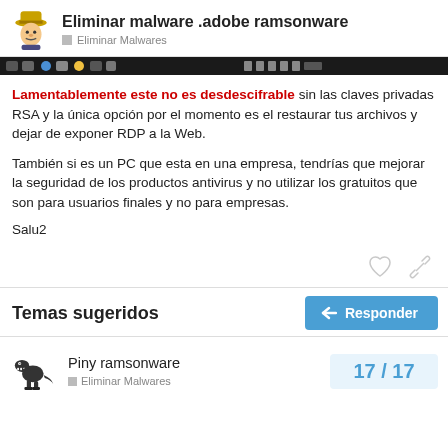Eliminar malware .adobe ramsonware — Eliminar Malwares
[Figure (screenshot): Dark browser/desktop taskbar screenshot strip]
Lamentablemente este no es desdescifrable sin las claves privadas RSA y la única opción por el momento es el restaurar tus archivos y dejar de exponer RDP a la Web.
También si es un PC que esta en una empresa, tendrías que mejorar la seguridad de los productos antivirus y no utilizar los gratuitos que son para usuarios finales y no para empresas.
Salu2
Temas sugeridos
Piny ramsonware — Eliminar Malwares — 17 / 17